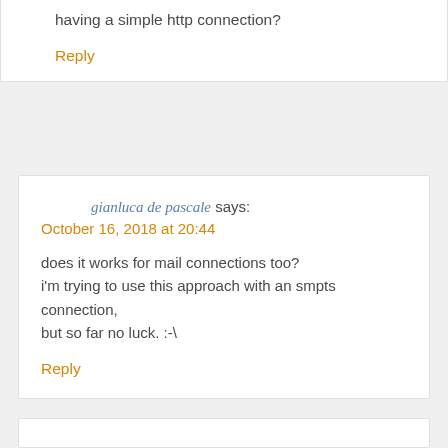having a simple http connection?
Reply
gianluca de pascale says:
October 16, 2018 at 20:44
does it works for mail connections too?
i'm trying to use this approach with an smpts connection,
but so far no luck. :-\
Reply